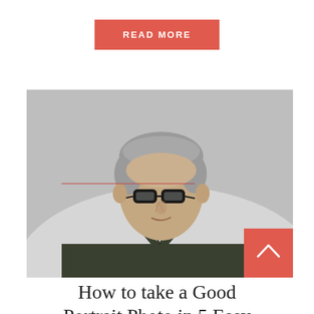READ MORE
[Figure (photo): Portrait photo of a middle-aged man with grey hair and glasses, wearing a dark olive polo shirt, posed against a grey gradient background. A red scroll-to-top button appears in the bottom-right corner of the image.]
How to take a Good Portrait Photo in 5 Easy